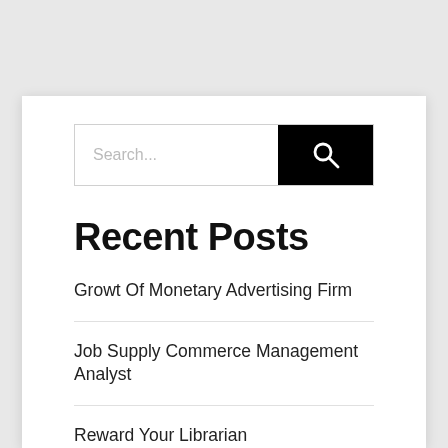[Figure (other): Search bar with text input field showing placeholder 'Search...' and a black button with a magnifying glass icon]
Recent Posts
Growt Of Monetary Advertising Firm
Job Supply Commerce Management Analyst
Reward Your Librarian
5 Hit Business Developments To Hold An Eye On In 2020